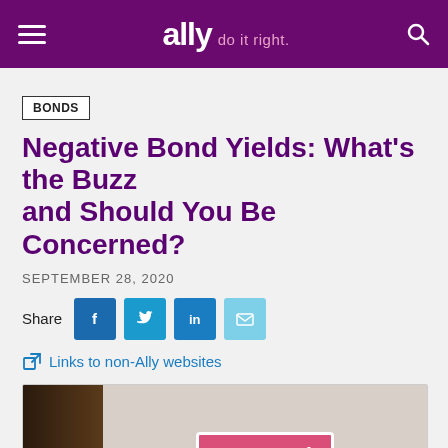ally do it right.
BONDS
Negative Bond Yields: What’s the Buzz and Should You Be Concerned?
SEPTEMBER 28, 2020
Share
Links to non-Ally websites
[Figure (photo): Person in foreground with blurred background showing a pink sign with text 'on trend']